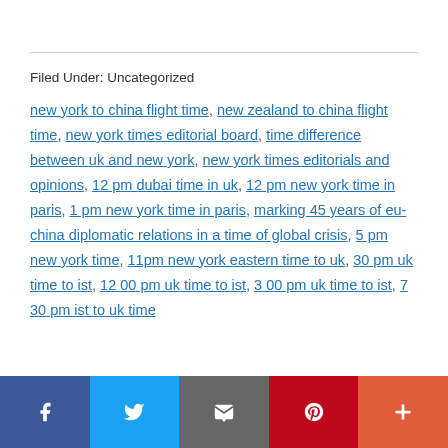Filed Under: Uncategorized
new york to china flight time, new zealand to china flight time, new york times editorial board, time difference between uk and new york, new york times editorials and opinions, 12 pm dubai time in uk, 12 pm new york time in paris, 1 pm new york time in paris, marking 45 years of eu-china diplomatic relations in a time of global crisis, 5 pm new york time, 11pm new york eastern time to uk, 30 pm uk time to ist, 12 00 pm uk time to ist, 3 00 pm uk time to ist, 7 30 pm ist to uk time
f | Twitter | Email | Pinterest | +